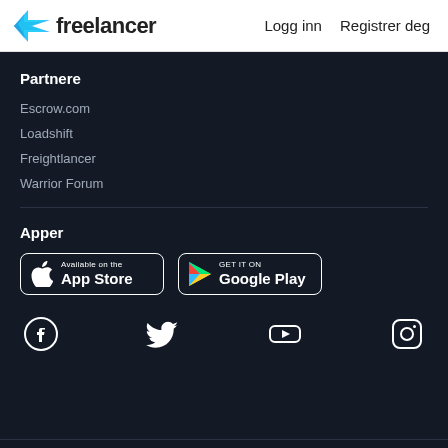Freelancer | Logg inn | Registrer deg
Partnere
Escrow.com
Loadshift
Freightlancer
Warrior Forum
Apper
[Figure (screenshot): App Store and Google Play download buttons]
[Figure (screenshot): Social media icons: Facebook, Twitter, YouTube, Instagram]